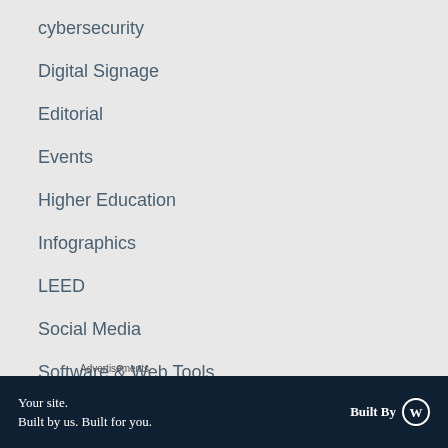cybersecurity
Digital Signage
Editorial
Events
Higher Education
Infographics
LEED
Social Media
Software & Web Tools
Stocks
Advertisements
[Figure (other): Advertisement banner: 'Your site. Built by us. Built for you.' with 'Built By' WordPress logo on dark navy background]